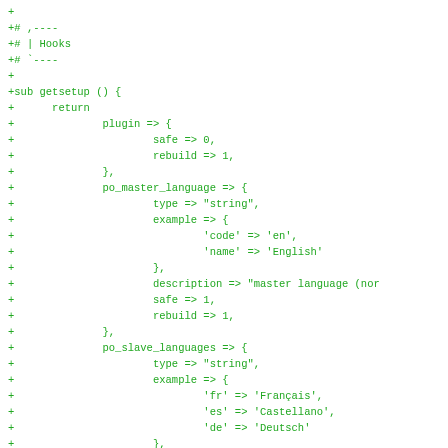+
+# ,----
+# | Hooks
+# `----
+
+sub getsetup () {
+      return
+              plugin => {
+                      safe => 0,
+                      rebuild => 1,
+              },
+              po_master_language => {
+                      type => "string",
+                      example => {
+                              'code' => 'en',
+                              'name' => 'English'
+                      },
+                      description => "master language (nor
+                      safe => 1,
+                      rebuild => 1,
+              },
+              po_slave_languages => {
+                      type => "string",
+                      example => {
+                              'fr' => 'Français',
+                              'es' => 'Castellano',
+                              'de' => 'Deutsch'
+                      },
+                      description => "slave languages (PO
+                      safe => 1,
+                      rebuild => 1,
+              }